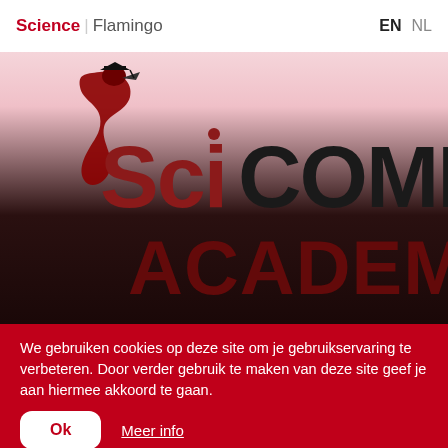Science  Flamingo   EN  NL
[Figure (logo): SciCOMM Academy logo — a flamingo styled as letter S with 'SciCOMM' in black/dark-red bold text and 'ACADEMY' in large dark-red text below, on a gradient background from pink to black]
We gebruiken cookies op deze site om je gebruikservaring te verbeteren. Door verder gebruik te maken van deze site geef je aan hiermee akkoord te gaan.
Ok   Meer info